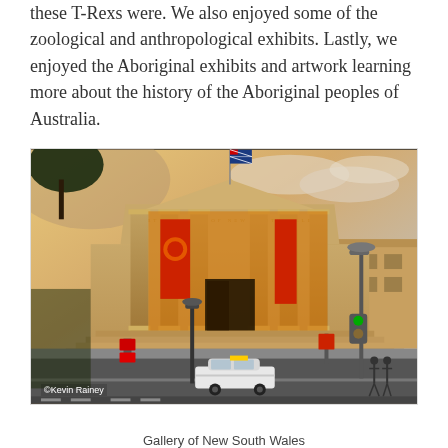these T-Rexs were. We also enjoyed some of the zoological and anthropological exhibits. Lastly, we enjoyed the Aboriginal exhibits and artwork learning more about the history of the Aboriginal peoples of Australia.
[Figure (photo): Exterior photograph of the Art Gallery of New South Wales in Sydney, Australia. A grand neoclassical sandstone building with large columns and a triangular pediment. Red banners hang between the columns. A flagpole with flag is visible on the roof. A white taxi cab drives past in the foreground. Street lights are visible. Photo credit: ©Kevin Rainey]
Gallery of New South Wales